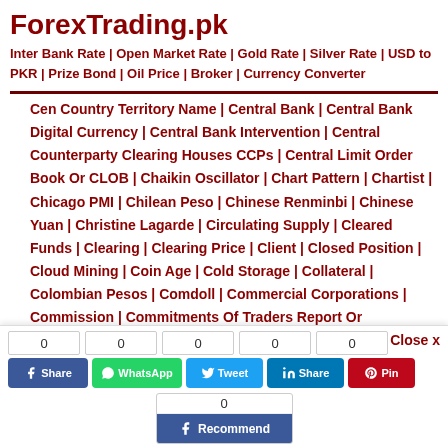ForexTrading.pk
Inter Bank Rate | Open Market Rate | Gold Rate | Silver Rate | USD to PKR | Prize Bond | Oil Price | Broker | Currency Converter
Central Bank Digital Currency | Central Bank Intervention | Central Counterparty Clearing Houses CCPs | Central Limit Order Book Or CLOB | Chaikin Oscillator | Chart Pattern | Chartist | Chicago PMI | Chilean Peso | Chinese Renminbi | Chinese Yuan | Christine Lagarde | Circulating Supply | Cleared Funds | Clearing | Clearing Price | Client | Closed Position | Cloud Mining | Coin Age | Cold Storage | Collateral | Colombian Pesos | Comdoll | Commercial Corporations | Commission | Commitments Of Traders Report Or
Close x
0  0  0  0  0
Share  WhatsApp  Tweet  Share  Pin
0
Recommend